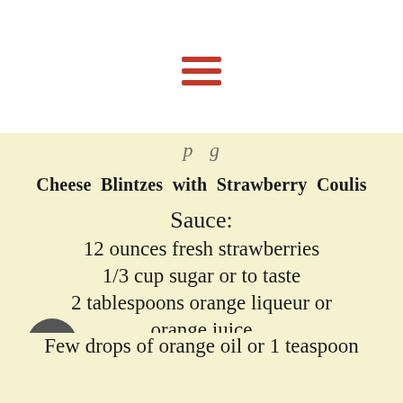☰ (hamburger menu icon)
Cheese Blintzes with Strawberry Coulis
Sauce:
12 ounces fresh strawberries
1/3 cup sugar or to taste
2 tablespoons orange liqueur or orange juice
Filling:
1 1/2 cups cottage cheese
1 1/2 cups ricotta cheese
Few drops of orange oil or 1 teaspoon